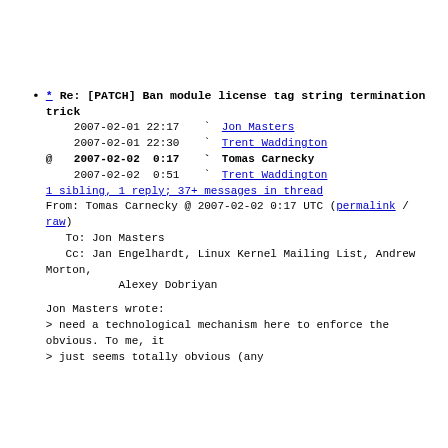* Re: [PATCH] Ban module license tag string termination trick
2007-02-01 22:17 ` Jon Masters
2007-02-01 22:30 ` Trent Waddington
@ 2007-02-02 0:17 ` Tomas Carnecky
2007-02-02 0:51 ` Trent Waddington
1 sibling, 1 reply; 37+ messages in thread
From: Tomas Carnecky @ 2007-02-02 0:17 UTC (permalink / raw)
To: Jon Masters
Cc: Jan Engelhardt, Linux Kernel Mailing List, Andrew Morton, Alexey Dobriyan

Jon Masters wrote:
> need a technological mechanism here to enforce the obvious. To me, it
> just seems totally obvious (any